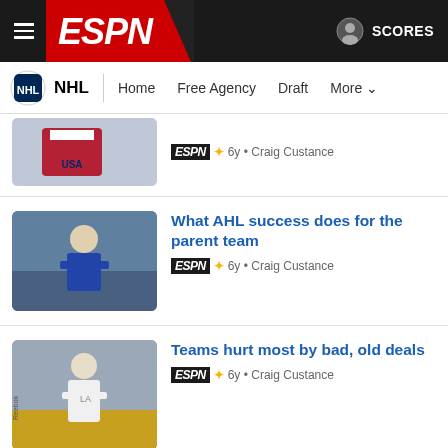ESPN NHL — Home Free Agency Draft More
[Figure (screenshot): Partially visible article thumbnail - hockey player]
ESPN+ 6y • Craig Custance
[Figure (screenshot): Article thumbnail - hockey player in blue jersey]
What AHL success does for the parent team
ESPN+ 6y • Craig Custance
[Figure (screenshot): Article thumbnail - hockey player in white LA Kings jersey with Reebok branding]
Teams hurt most by bad, old deals
ESPN+ 6y • Craig Custance
Enthusiasm in Washington's chances of success haven't been this low in years. Four major statistical models -- Money Puck, Hockey Reference, Sports Club Stats and Playoff Status -- project Washington's chances of winning their first Stanley Cup